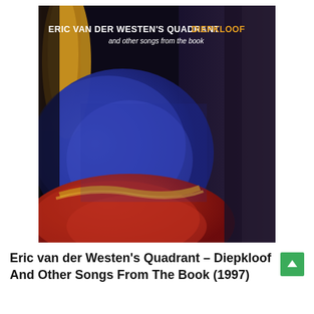[Figure (photo): Album cover for Eric van der Westen's Quadrant – Diepkloof and other songs from the book (1997). Dark abstract painting with blue, red, gold, and black tones. Title text overlaid at top: band name in white bold, album title 'DIEPKLOOF' in orange/gold bold, subtitle in white italic.]
Eric van der Westen's Quadrant – Diepkloof And Other Songs From The Book (1997)